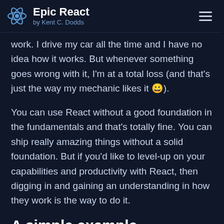Epic React by Kent C. Dodds
work. I drive my car all the time and I have no idea how it works. But whenever something goes wrong with it, I'm at a total loss (and that's just the way my mechanic likes it 😀).
You can use React without a good foundation in the fundamentals and that's totally fine. You can ship really amazing things without a solid foundation. But if you'd like to level-up on your capabilities and productivity with React, then digging in and gaining an understanding in how they work is the way to do it.
A simple example